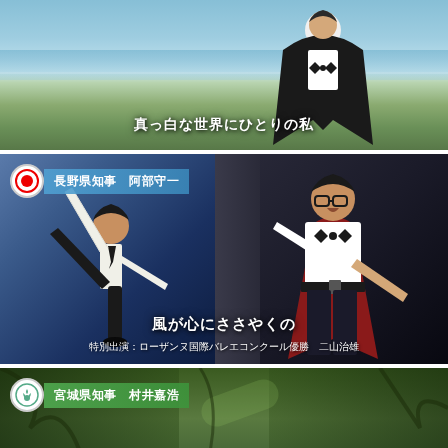[Figure (screenshot): Video screenshot of a person wearing a black cape standing in front of a beach/ocean scene. Japanese subtitle text reads: 真っ白な世界にひとりの私]
[Figure (screenshot): Video screenshot of a TV program showing two performers on stage. Left: a dancer in ballet pose with high leg kick. Right: a man in white shirt with bow tie singing/performing. Nameplate overlay reads: 長野県知事 阿部守一. Subtitle text reads: 風が心にささやくの. Sub-subtitle: 特別出演：ローザンヌ国際バレエコンクール優勝　二山治雄]
[Figure (screenshot): Video screenshot of a forest/woodland scene with nameplate overlay reading: 宮城県知事 村井嘉浩]